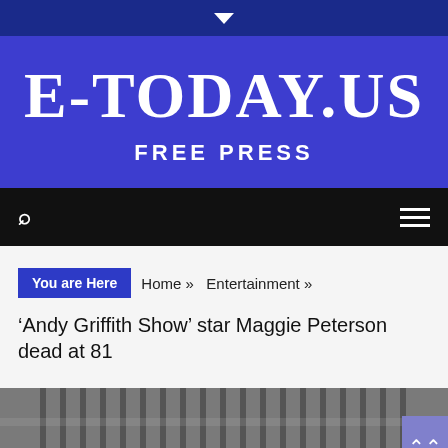E-TODAY.US FREE PRESS
You are Here  Home » Entertainment »
'Andy Griffith Show' star Maggie Peterson dead at 81
[Figure (photo): Black and white photograph partially visible at the bottom of the page, showing a building with columns and a person.]